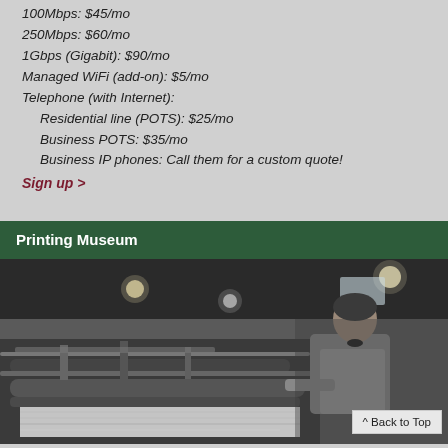100Mbps: $45/mo
250Mbps: $60/mo
1Gbps (Gigabit): $90/mo
Managed WiFi (add-on): $5/mo
Telephone (with Internet):
Residential line (POTS): $25/mo
Business POTS: $35/mo
Business IP phones: Call them for a custom quote!
Sign up >
Printing Museum
[Figure (photo): Black and white photograph of a man operating a printing press machine in a museum or workshop setting]